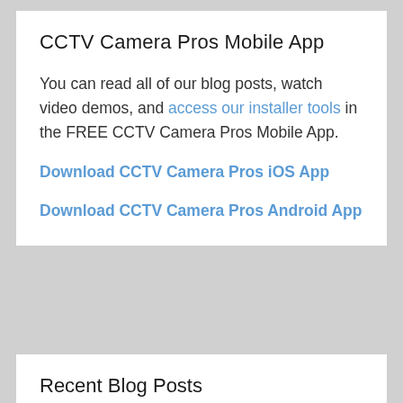CCTV Camera Pros Mobile App
You can read all of our blog posts, watch video demos, and access our installer tools in the FREE CCTV Camera Pros Mobile App.
Download CCTV Camera Pros iOS App
Download CCTV Camera Pros Android App
Recent Blog Posts
Long Distance Car Detection with 4K AI Security Camera